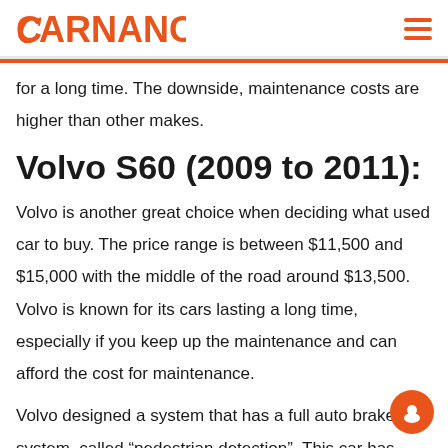CARNANCE
for a long time. The downside, maintenance costs are higher than other makes.
Volvo S60 (2009 to 2011):
Volvo is another great choice when deciding what used car to buy. The price range is between $11,500 and $15,000 with the middle of the road around $13,500. Volvo is known for its cars lasting a long time, especially if you keep up the maintenance and can afford the cost for maintenance.
Volvo designed a system that has a full auto brake system, called “pedestrian detection”. This car has solid safety